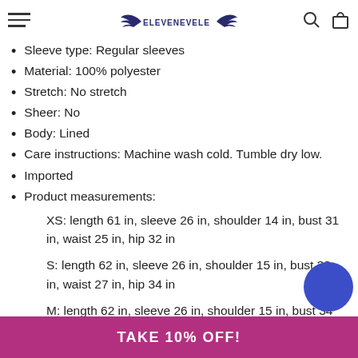ELEVENEVELE (logo with navigation icons)
Sleeve type: Regular sleeves
Material: 100% polyester
Stretch: No stretch
Sheer: No
Body: Lined
Care instructions: Machine wash cold. Tumble dry low.
Imported
Product measurements:
XS: length 61 in, sleeve 26 in, shoulder 14 in, bust 31 in, waist 25 in, hip 32 in
S: length 62 in, sleeve 26 in, shoulder 15 in, bust 33 in, waist 27 in, hip 34 in
M: length 62 in, sleeve 26 in, shoulder 15 in, bust 34 in, waist 28 in, hip 35 in
L: length 62 in, sleeve 27 in, shoulder 16 in, bust ...
TAKE 10% OFF!